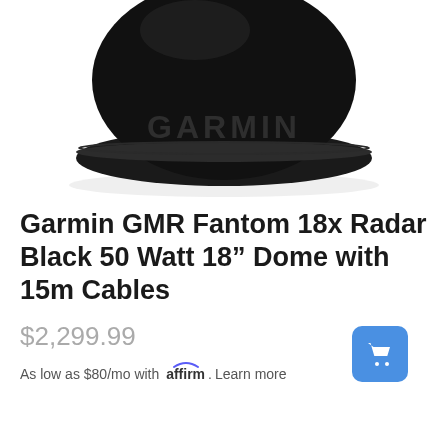[Figure (photo): Black Garmin GMR Fantom 18x radar dome with 'GARMIN' text embossed on the side, viewed from the top/front angle against a white background.]
Garmin GMR Fantom 18x Radar Black 50 Watt 18” Dome with 15m Cables
$2,299.99
As low as $80/mo with affirm. Learn more